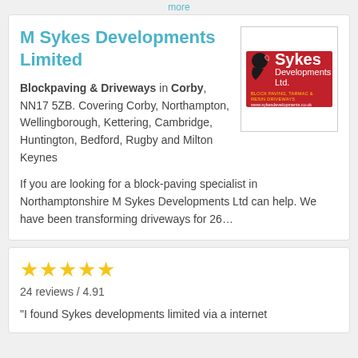more
M Sykes Developments Limited
[Figure (logo): Sykes Developments Ltd logo — red background with bird graphic, white text reading 'Sykes Developments Ltd.' with yellow tagline and website url www.sykesdevelopments.co.uk]
Blockpaving & Driveways in Corby, NN17 5ZB. Covering Corby, Northampton, Wellingborough, Kettering, Cambridge, Huntington, Bedford, Rugby and Milton Keynes
If you are looking for a block-paving specialist in Northamptonshire M Sykes Developments Ltd can help. We have been transforming driveways for 26…
24 reviews / 4.91
"I found Sykes developments limited via a internet